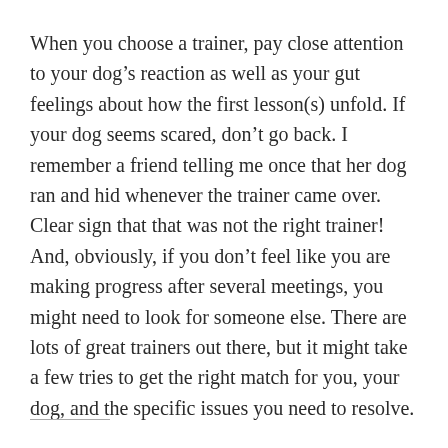When you choose a trainer, pay close attention to your dog’s reaction as well as your gut feelings about how the first lesson(s) unfold. If your dog seems scared, don’t go back. I remember a friend telling me once that her dog ran and hid whenever the trainer came over. Clear sign that that was not the right trainer! And, obviously, if you don’t feel like you are making progress after several meetings, you might need to look for someone else. There are lots of great trainers out there, but it might take a few tries to get the right match for you, your dog, and the specific issues you need to resolve.